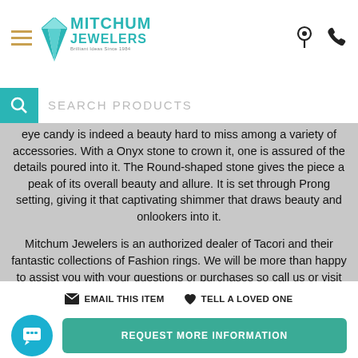[Figure (logo): Mitchum Jewelers logo with teal text, diamond icon, hamburger menu icon, and header icons for location and phone]
SEARCH PRODUCTS
eye candy is indeed a beauty hard to miss among a variety of accessories. With a Onyx stone to crown it, one is assured of the details poured into it. The Round-shaped stone gives the piece a peak of its overall beauty and allure. It is set through Prong setting, giving it that captivating shimmer that draws beauty and onlookers into it.
Mitchum Jewelers is an authorized dealer of Tacori and their fantastic collections of Fashion rings. We will be more than happy to assist you with your questions or purchases so call us or visit our store.
EMAIL THIS ITEM TELL A LOVED ONE
REQUEST MORE INFORMATION